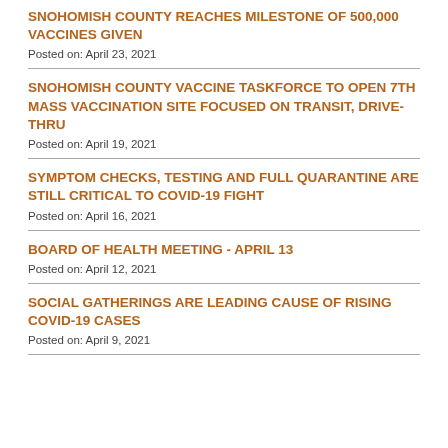SNOHOMISH COUNTY REACHES MILESTONE OF 500,000 VACCINES GIVEN
Posted on: April 23, 2021
SNOHOMISH COUNTY VACCINE TASKFORCE TO OPEN 7TH MASS VACCINATION SITE FOCUSED ON TRANSIT, DRIVE-THRU
Posted on: April 19, 2021
SYMPTOM CHECKS, TESTING AND FULL QUARANTINE ARE STILL CRITICAL TO COVID-19 FIGHT
Posted on: April 16, 2021
BOARD OF HEALTH MEETING - APRIL 13
Posted on: April 12, 2021
SOCIAL GATHERINGS ARE LEADING CAUSE OF RISING COVID-19 CASES
Posted on: April 9, 2021